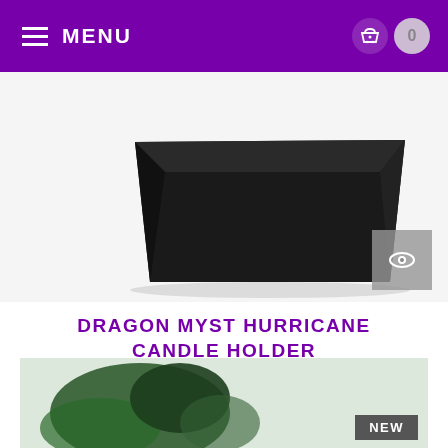MENU
[Figure (photo): Black pyramid-shaped candle holder base photographed on white background, cropped to show mostly the base]
[Figure (photo): Quick-view eye icon button overlay on product image]
DRAGON MYST HURRICANE CANDLE HOLDER
$28.95
[Figure (infographic): Three purple action buttons: basket/cart icon, heart/wishlist icon, and list/compare icon]
Write Review
[Figure (photo): Partial image of a dark green decorative item with NEW badge overlay]